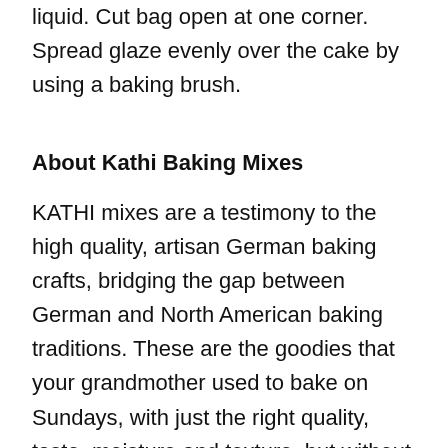liquid. Cut bag open at one corner. Spread glaze evenly over the cake by using a baking brush.
About Kathi Baking Mixes
KATHI mixes are a testimony to the high quality, artisan German baking crafts, bridging the gap between German and North American baking traditions. These are the goodies that your grandmother used to bake on Sundays, with just the right quality, taste, moisture and texture, but without the fuss. Requiring just a few steps of preparation, Kathi mixes help the novice baker move beyond brownies, while offering time savings for accomplished cooks. KATHI mixes are available for cakes, cookies, tortes, muffins, biscuits and pizza dough. Plus, each mix features alternative recipe ideas on the